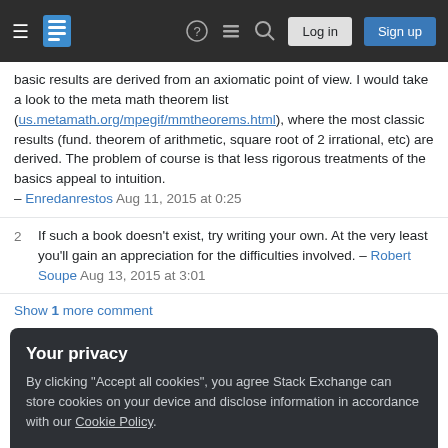Stack Exchange navigation bar with Login and Sign up buttons
basic results are derived from an axiomatic point of view. I would take a look to the meta math theorem list (us.metamath.org/mpegif/mmtheorems.html), where the most classic results (fund. theorem of arithmetic, square root of 2 irrational, etc) are derived. The problem of course is that less rigorous treatments of the basics appeal to intuition. – Enredanrestos Aug 11, 2015 at 0:25
2 If such a book doesn't exist, try writing your own. At the very least you'll gain an appreciation for the difficulties involved. – Robert Soupe Aug 13, 2015 at 3:01
Show 1 more comment
Your privacy
By clicking "Accept all cookies", you agree Stack Exchange can store cookies on your device and disclose information in accordance with our Cookie Policy.
Accept all cookies   Customize settings
and you say you don't want a treatise on elementary number theory (do you?), but have you ever come across ...